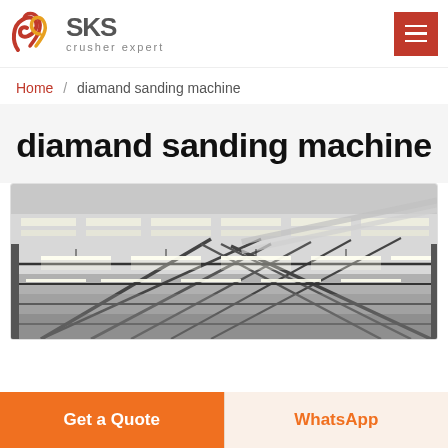[Figure (logo): SKS crusher expert logo with red swirl emblem and grey SKS text]
Home / diamand sanding machine
diamand sanding machine
[Figure (photo): Interior of a large industrial warehouse with steel roof trusses and fluorescent strip lighting]
Get a Quote
WhatsApp